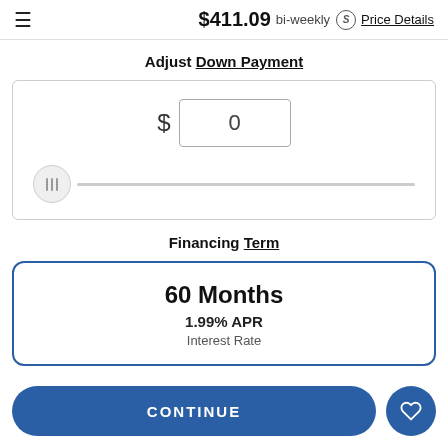$411.09 bi-weekly  S  Price Details
Adjust Down Payment
[Figure (infographic): Down payment input box showing '$' label and '0' value in a text field, with a slider control below set to the leftmost position]
Financing Term
60 Months
1.99% APR
Interest Rate
CONTINUE